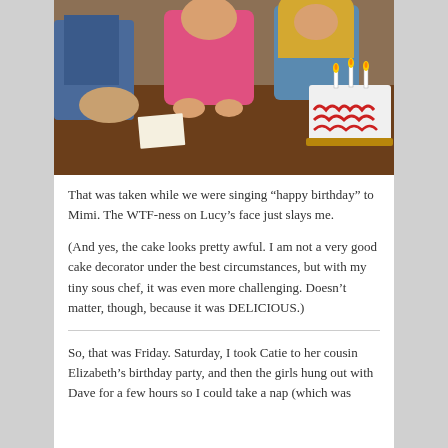[Figure (photo): A birthday scene with people sitting around a wooden table. A young child in a pink top is in the center, and a blonde girl is to the right. A white birthday cake with red frosting decorations and lit candles is on the right side of the table.]
That was taken while we were singing “happy birthday” to Mimi. The WTF-ness on Lucy’s face just slays me.
(And yes, the cake looks pretty awful. I am not a very good cake decorator under the best circumstances, but with my tiny sous chef, it was even more challenging. Doesn’t matter, though, because it was DELICIOUS.)
So, that was Friday. Saturday, I took Catie to her cousin Elizabeth’s birthday party, and then the girls hung out with Dave for a few hours so I could take a nap (which was